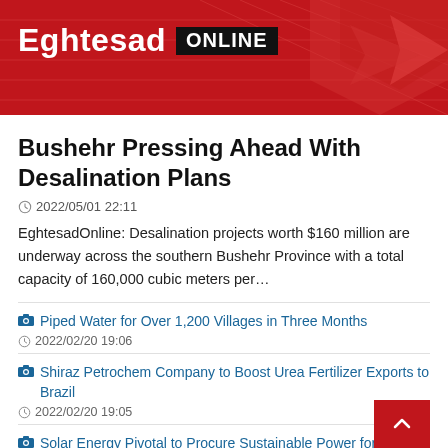[Figure (logo): Eghtesad Online news website banner with red background and logo]
Bushehr Pressing Ahead With Desalination Plans
2022/05/01 22:11
EghtesadOnline: Desalination projects worth $160 million are underway across the southern Bushehr Province with a total capacity of 160,000 cubic meters per…
Piped Water for Over 1,200 Villages in Three Months — 2022/02/20 19:06
Shiraz Petrochem Company to Boost Urea Fertilizer Exports to Brazil — 2022/02/20 19:05
Solar Energy Pivotal to Procure Sustainable Power for…